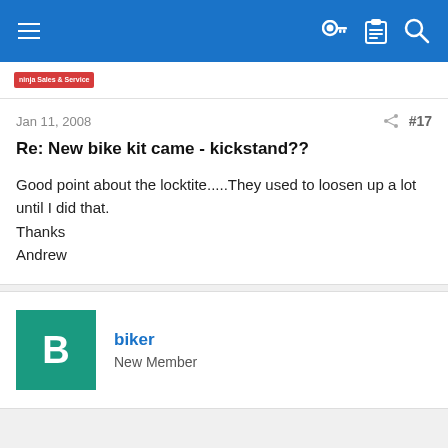Navigation bar with menu, key, clipboard, and search icons
[Figure (logo): Red badge logo reading 'ninja sales & service']
Jan 11, 2008
#17
Re: New bike kit came - kickstand??
Good point about the locktite.....They used to loosen up a lot until I did that.
Thanks
Andrew
biker
New Member